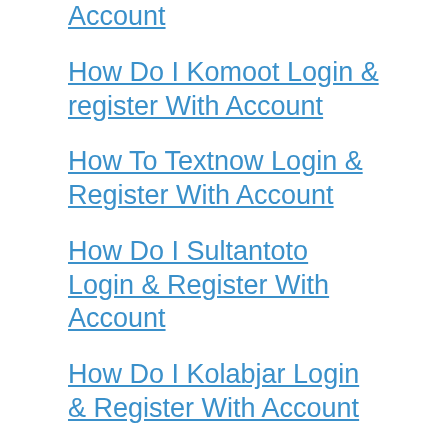Account
How Do I Komoot Login & register With Account
How To Textnow Login & Register With Account
How Do I Sultantoto Login & Register With Account
How Do I Kolabjar Login & Register With Account
Categories
Apps Login
Articles